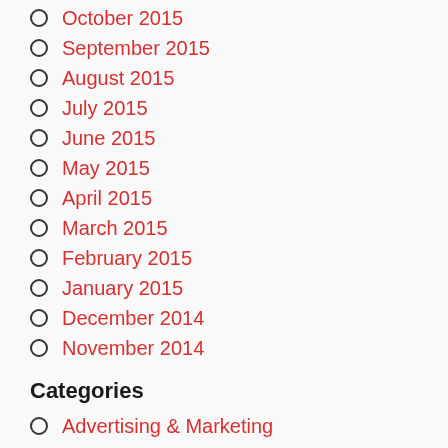October 2015
September 2015
August 2015
July 2015
June 2015
May 2015
April 2015
March 2015
February 2015
January 2015
December 2014
November 2014
Categories
Advertising & Marketing